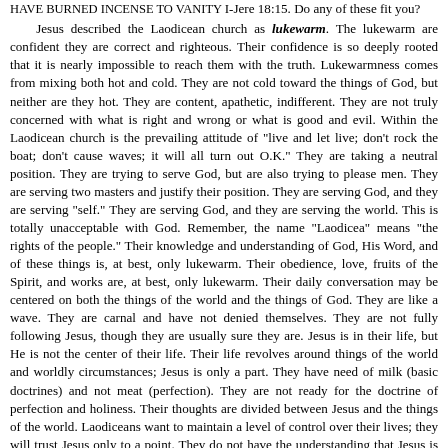HAVE BURNED INCENSE TO VANITY I-Jere 18:15. Do any of these fit you?
Jesus described the Laodicean church as lukewarm. The lukewarm are confident they are correct and righteous. Their confidence is so deeply rooted that it is nearly impossible to reach them with the truth. Lukewarmness comes from mixing both hot and cold. They are not cold toward the things of God, but neither are they hot. They are content, apathetic, indifferent. They are not truly concerned with what is right and wrong or what is good and evil. Within the Laodicean church is the prevailing attitude of "live and let live; don't rock the boat; don't cause waves; it will all turn out O.K." They are taking a neutral position. They are trying to serve God, but are also trying to please men. They are serving two masters and justify their position. They are serving God, and they are serving "self." They are serving God, and they are serving the world. This is totally unacceptable with God. Remember, the name "Laodicea" means "the rights of the people." Their knowledge and understanding of God, His Word, and of these things is, at best, only lukewarm. Their obedience, love, fruits of the Spirit, and works are, at best, only lukewarm. Their daily conversation may be centered on both the things of the world and the things of God. They are like a wave. They are carnal and have not denied themselves. They are not fully following Jesus, though they are usually sure they are. Jesus is in their life, but He is not the center of their life. Their life revolves around things of the world and worldly circumstances; Jesus is only a part. They have need of milk (basic doctrines) and not meat (perfection). They are not ready for the doctrine of perfection and holiness. Their thoughts are divided between Jesus and the things of the world. Laodiceans want to maintain a level of control over their lives; they will trust Jesus only to a point. They do not have the understanding that Jesus is in control when very difficult situations come against them; their knowledge is lukewarm.
At best, their understanding of who is saved, by the grace of God, and who is not saved is only lukewarm. It may be said, they do not fully comprehend the strait gate and narrow way.